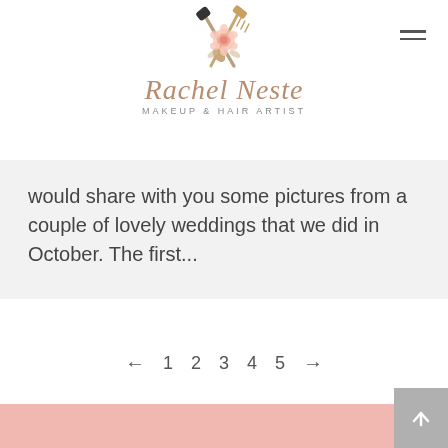[Figure (logo): Rachel Neste Makeup & Hair Artist logo with crossed makeup brush and comb, pink rose flower, script text 'Rachel Neste' and subtitle 'Makeup & Hair Artist']
would share with you some pictures from a couple of lovely weddings that we did in October. The first...
← 1 2 3 4 5 →